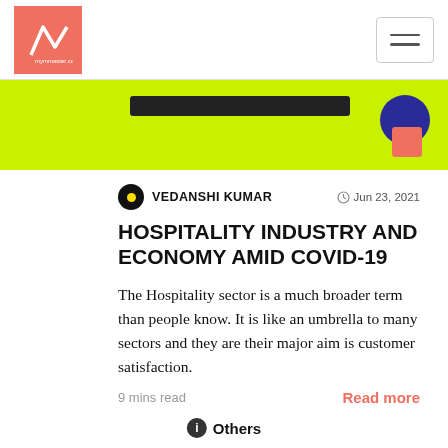mymmaster.com navigation bar with logo and hamburger menu
[Figure (illustration): Green banner with dark bar and blue/pink shapes]
VEDANSHI KUMAR   Jun 23, 2021
HOSPITALITY INDUSTRY AND ECONOMY AMID COVID-19
The Hospitality sector is a much broader term than people know. It is like an umbrella to many sectors and they are their major aim is customer satisfaction.
9 mins read
Read more
Others